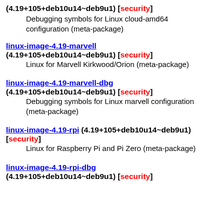(4.19+105+deb10u14~deb9u1) [security] Debugging symbols for Linux cloud-amd64 configuration (meta-package)
linux-image-4.19-marvell (4.19+105+deb10u14~deb9u1) [security] Linux for Marvell Kirkwood/Orion (meta-package)
linux-image-4.19-marvell-dbg (4.19+105+deb10u14~deb9u1) [security] Debugging symbols for Linux marvell configuration (meta-package)
linux-image-4.19-rpi (4.19+105+deb10u14~deb9u1) [security] Linux for Raspberry Pi and Pi Zero (meta-package)
linux-image-4.19-rpi-dbg (4.19+105+deb10u14~deb9u1) [security]